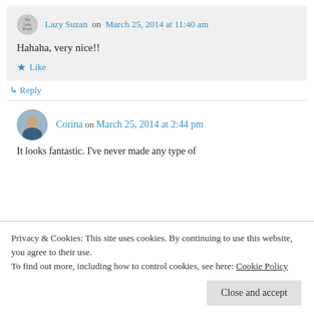Lazy Suzan on March 25, 2014 at 11:40 am
Hahaha, very nice!!
Like
Reply
Corina on March 25, 2014 at 2:44 pm
It looks fantastic. I've never made any type of
Privacy & Cookies: This site uses cookies. By continuing to use this website, you agree to their use.
To find out more, including how to control cookies, see here: Cookie Policy
Close and accept